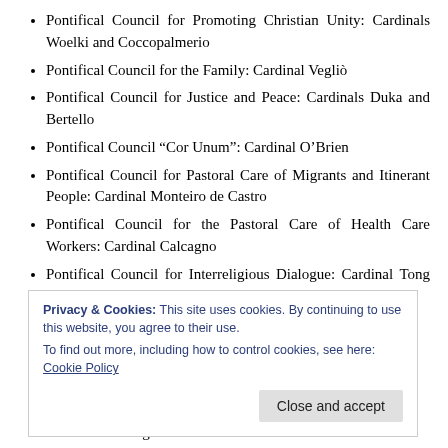Pontifical Council for Promoting Christian Unity: Cardinals Woelki and Coccopalmerio
Pontifical Council for the Family: Cardinal Vegliò
Pontifical Council for Justice and Peace: Cardinals Duka and Bertello
Pontifical Council “Cor Unum”: Cardinal O’Brien
Pontifical Council for Pastoral Care of Migrants and Itinerant People: Cardinal Monteiro de Castro
Pontifical Council for the Pastoral Care of Health Care Workers: Cardinal Calcagno
Pontifical Council for Interreligious Dialogue: Cardinal Tong Hon
Pontifical Council for Culture: Cardinal Rotari (partial, obscured)
Privacy & Cookies: This site uses cookies. By continuing to use this website, you agree to their use.
To find out more, including how to control cookies, see here: Cookie Policy
Eucharistic Congresses: Cardinal Braz de Aviz